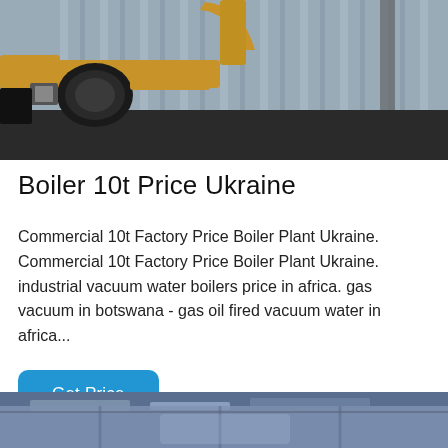[Figure (photo): Industrial boiler plant showing yellow pipes, fittings and a pump connected to corrugated metal wall background]
Boiler 10t Price Ukraine
Commercial 10t Factory Price Boiler Plant Ukraine. Commercial 10t Factory Price Boiler Plant Ukraine. industrial vacuum water boilers price in africa. gas vacuum in botswana - gas oil fired vacuum water in africa...
Get Price
[Figure (photo): Interior of an industrial facility with blue/purple tinted ceiling and pipe infrastructure]